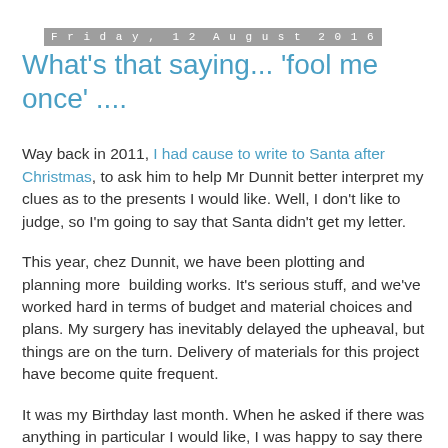Friday, 12 August 2016
What's that saying... 'fool me once' ....
Way back in 2011, I had cause to write to Santa after Christmas, to ask him to help Mr Dunnit better interpret my clues as to the presents I would like. Well, I don't like to judge, so I'm going to say that Santa didn't get my letter.
This year, chez Dunnit, we have been plotting and planning more  building works. It's serious stuff, and we've worked hard in terms of budget and material choices and plans. My surgery has inevitably delayed the upheaval, but things are on the turn. Delivery of materials for this project have become quite frequent.
It was my Birthday last month. When he asked if there was anything in particular I would like, I was happy to say there was not. Not even a surprise. I have no wants or needs.
A couple of hours after this conversation and with a sheaf of